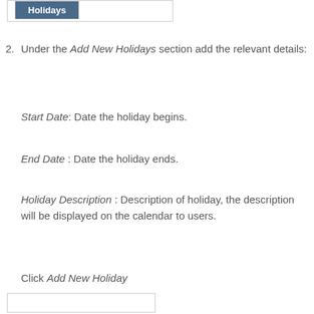[Figure (screenshot): Tab button labeled 'Holidays' with dark blue background and white text, inside a bordered container]
2. Under the Add New Holidays section add the relevant details:
Start Date: Date the holiday begins.
End Date : Date the holiday ends.
Holiday Description : Description of holiday, the description will be displayed on the calendar to users.
Click Add New Holiday
[Figure (screenshot): Bottom bordered input/tab area]